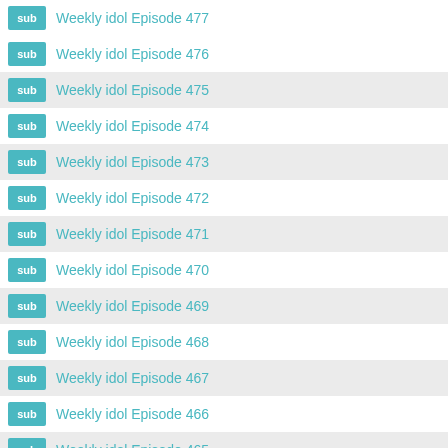sub Weekly idol Episode 477
sub Weekly idol Episode 476
sub Weekly idol Episode 475
sub Weekly idol Episode 474
sub Weekly idol Episode 473
sub Weekly idol Episode 472
sub Weekly idol Episode 471
sub Weekly idol Episode 470
sub Weekly idol Episode 469
sub Weekly idol Episode 468
sub Weekly idol Episode 467
sub Weekly idol Episode 466
sub Weekly idol Episode 465
sub Weekly idol Episode 464